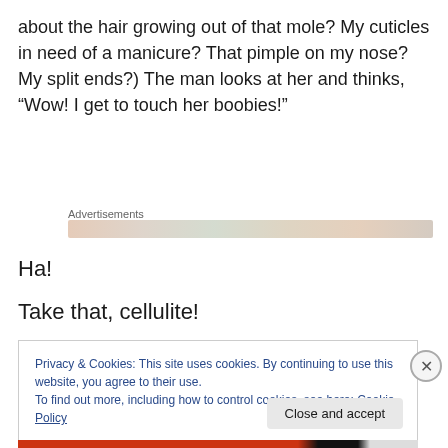about the hair growing out of that mole?  My cuticles in need of a manicure?  That pimple on my nose? My split ends?)  The man looks at her and thinks, “Wow!  I get to touch her boobies!”
Advertisements
Ha!
Take that, cellulite!
Privacy & Cookies: This site uses cookies. By continuing to use this website, you agree to their use.
To find out more, including how to control cookies, see here: Cookie Policy